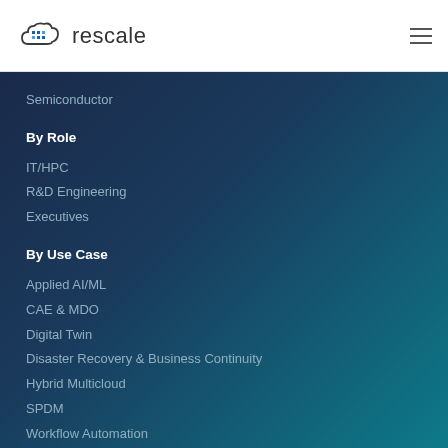rescale
Semiconductor
By Role
IT/HPC
R&D Engineering
Executives
By Use Case
Applied AI/ML
CAE & MDO
Digital Twin
Disaster Recovery & Business Continuity
Hybrid Multicloud
SPDM
Workflow Automation